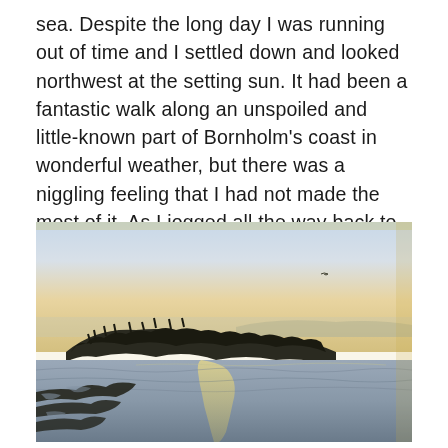sea. Despite the long day I was running out of time and I settled down and looked northwest at the setting sun. It had been a fantastic walk along an unspoiled and little-known part of Bornholm's coast in wonderful weather, but there was a niggling feeling that I had not made the most of it. As I jogged all the way back to the car, I made copious mental notes of things to change for next time.
[Figure (photo): Watercolor-style photograph of a coastal sunset scene showing Bornholm's coastline. The sky is a warm yellow-orange gradient. In the middle ground is a dark rocky headland with trees silhouetted against the sky. In the foreground are wet rocks and tidal pools reflecting the light, with calm water stretching across the scene.]